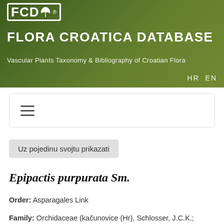FCD® FLORA CROATICA DATABASE – Vascular Plants Taxonomy & Bibliography of Croatian Flora  HR  EN
≡ (navigation menu)
Uz pojedinu svojtu prikazati
Epipactis purpurata Sm.
Order: Asparagales Link
Family: Orchidaceae (kačunovice (Hr), Schlosser, J.C.K.;